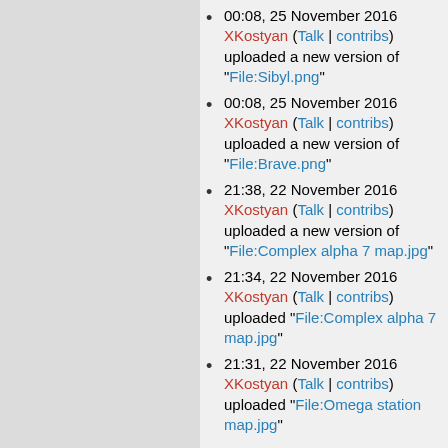00:08, 25 November 2016 XKostyan (Talk | contribs) uploaded a new version of "File:Sibyl.png"
00:08, 25 November 2016 XKostyan (Talk | contribs) uploaded a new version of "File:Brave.png"
21:38, 22 November 2016 XKostyan (Talk | contribs) uploaded a new version of "File:Complex alpha 7 map.jpg"
21:34, 22 November 2016 XKostyan (Talk | contribs) uploaded "File:Complex alpha 7 map.jpg"
21:31, 22 November 2016 XKostyan (Talk | contribs) uploaded "File:Omega station map.jpg"